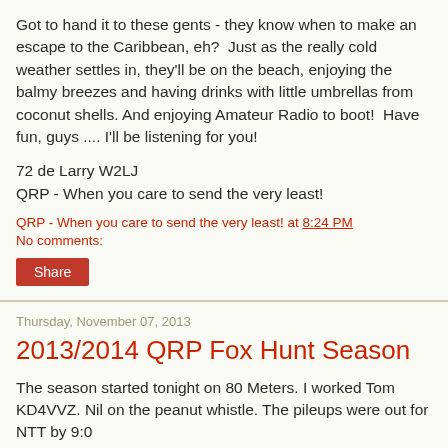Got to hand it to these gents - they know when to make an escape to the Caribbean, eh?  Just as the really cold weather settles in, they'll be on the beach, enjoying the balmy breezes and having drinks with little umbrellas from coconut shells. And enjoying Amateur Radio to boot!  Have fun, guys .... I'll be listening for you!
72 de Larry W2LJ
QRP - When you care to send the very least!
QRP - When you care to send the very least! at 8:24 PM
No comments:
Share
Thursday, November 07, 2013
2013/2014 QRP Fox Hunt Season
The season started tonight on 80 Meters. I worked Tom KD4VVZ. Nil on the peanut whistle. The pileups were out for NTT by 9:0